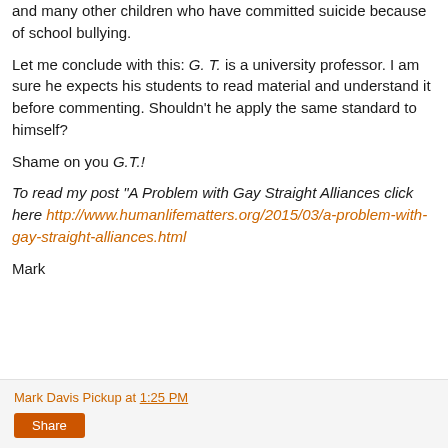and many other children who have committed suicide because of school bullying.
Let me conclude with this: G. T. is a university professor. I am sure he expects his students to read material and understand it before commenting. Shouldn't he apply the same standard to himself?
Shame on you G.T.!
To read my post "A Problem with Gay Straight Alliances click here http://www.humanlifematters.org/2015/03/a-problem-with-gay-straight-alliances.html
Mark
Mark Davis Pickup at 1:25 PM  Share